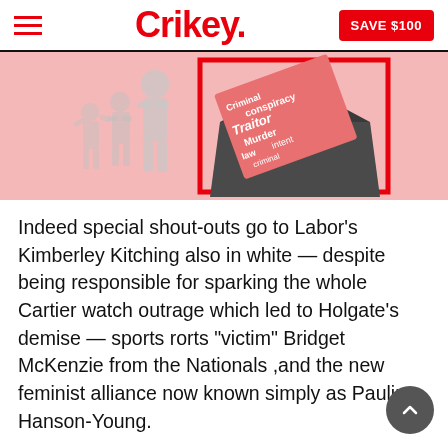Crikey. SAVE $100
[Figure (illustration): Pink background illustration with silhouettes of figures and a dark envelope containing a letter with words like 'Criminal', 'conspiracy', 'Traitor', 'Murder', 'intent', 'law' in white text on red/pink paper, framed with a red rectangle border.]
Indeed special shout-outs go to Labor's Kimberley Kitching also in white — despite being responsible for sparking the whole Cartier watch outrage which led to Holgate's demise — sports rorts "victim" Bridget McKenzie from the Nationals ,and the new feminist alliance now known simply as Pauline Hanson-Young.
It was a polished and commanding performance from Holgate, in stark contrast to her last disastrous